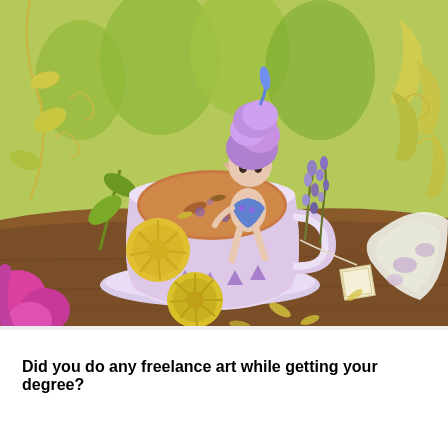[Figure (illustration): A whimsical digital illustration of a small fairy with purple hair sitting inside a large decorative teacup filled with tea, surrounded by flowers (yellow chrysanthemums, purple lavender), green leaves, vines, and a lemon slice. A tea bag hangs from the cup. The fairy wears a blue floral outfit and has pointed ears. The scene is set on a wooden table with a saucer and small dish. Colors are soft purples, greens, yellows, and browns.]
Did you do any freelance art while getting your degree?